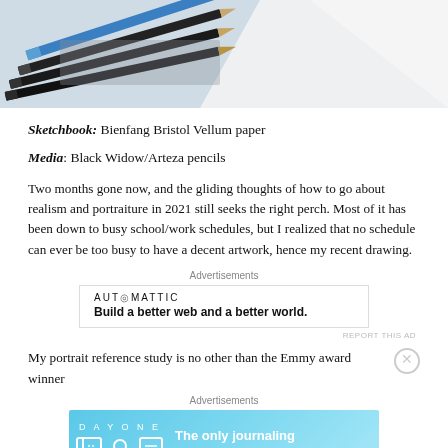[Figure (photo): Close-up photo of pencils (blue and black) resting on paper/sketchbook]
Sketchbook: Bienfang Bristol Vellum paper
Media: Black Widow/Arteza pencils
Two months gone now, and the gliding thoughts of how to go about realism and portraiture in 2021 still seeks the right perch. Most of it has been down to busy school/work schedules, but I realized that no schedule can ever be too busy to have a decent artwork, hence my recent drawing.
Advertisements
[Figure (infographic): Automattic advertisement: 'Build a better web and a better world.']
REPORT THIS AD
My portrait reference study is no other than the Emmy award winner
Advertisements
[Figure (infographic): Day One app advertisement: 'The only journaling app you'll ever need.']